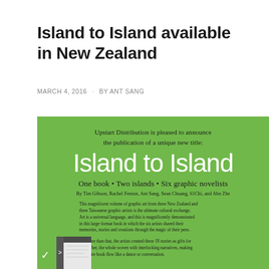Island to Island available in New Zealand
MARCH 4, 2016 · BY ANT SANG
[Figure (infographic): Green promotional flyer for 'Island to Island' book published by Upstart Distribution. Contains title text 'Island to Island', subtitle 'One book • Two islands • Six graphic novelists', author names, and descriptive body text. A book cover image is partially visible at the bottom left of the green box.]